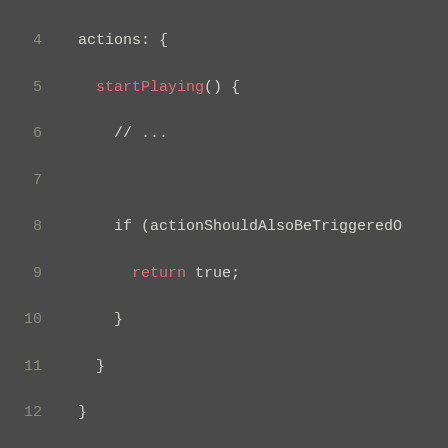[Figure (screenshot): Code block showing JavaScript lines 4-13 with syntax highlighting on dark background. Line 5 has 'startPlaying()' in red/orange, line 8 has 'if (actionShouldAlsoBeTriggeredO...' cut off, line 9 has 'return true;', closing braces on lines 10-13 ending with '});']
ariaRole public
MODULE:
@ember/component
Defined in packages/ember-glimmer/lib/component.ts:681
The WAI-ARIA role of the control represented by this view. For example, a button may have a role of type...